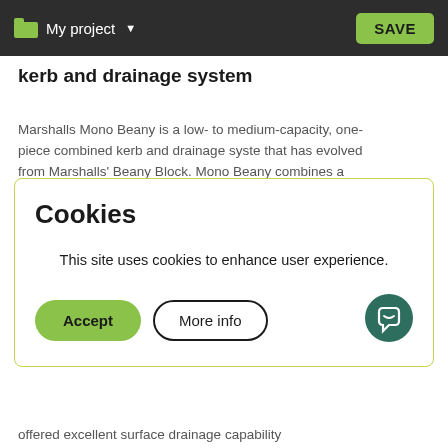My project  SAVE
kerb and drainage system
Marshalls Mono Beany is a low- to medium-capacity, one-piece combined kerb and drainage syste that has evolved from Marshalls' Beany Block. Mono Beany combines a combination of Marshalls M-Tech high-strength concrete, which is...
Cookies
This site uses cookies to enhance user experience.
offered excellent surface drainage capability